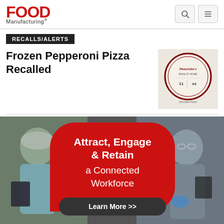Food Manufacturing
RECALLS/ALERTS
Frozen Pepperoni Pizza Recalled
[Figure (photo): Frozen pepperoni pizza product box with circular brand logo, showing PizzaJohn's brand packaging]
[Figure (infographic): Advertisement banner: Attract, Engage & Retain a Connected Workforce. Learn More >>. Features two food manufacturing workers — a woman in hairnet and blue coat holding a tablet on the left, and a man in grey shirt with blue gloves on the right.]